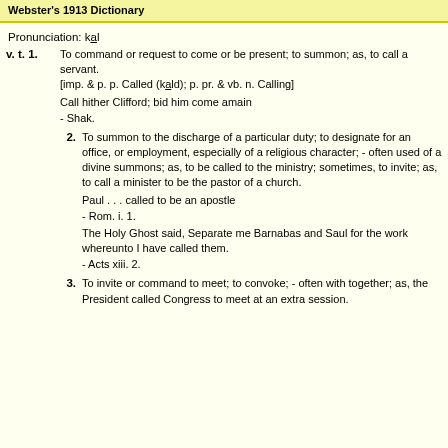Webster's 1913 Dictionary
Pronunciation: kạl
v. t. 1. To command or request to come or be present; to summon; as, to call a servant. [imp. & p. p. Called (kạld); p. pr. & vb. n. Calling] Call hither Clifford; bid him come amain - Shak.
2. To summon to the discharge of a particular duty; to designate for an office, or employment, especially of a religious character; - often used of a divine summons; as, to be called to the ministry; sometimes, to invite; as, to call a minister to be the pastor of a church. Paul . . . called to be an apostle - Rom. i. 1. The Holy Ghost said, Separate me Barnabas and Saul for the work whereunto I have called them. - Acts xiii. 2.
3. To invite or command to meet; to convoke; - often with together; as, the President called Congress to meet at an extra session.